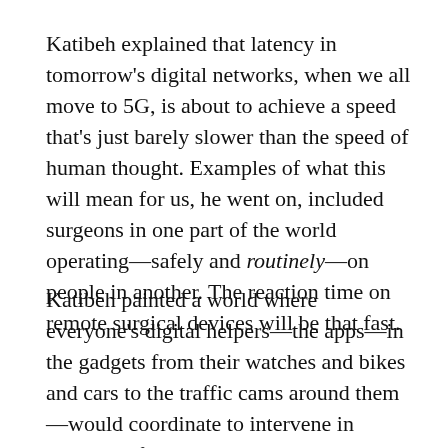Katibeh explained that latency in tomorrow's digital networks, when we all move to 5G, is about to achieve a speed that's just barely slower than the speed of human thought. Examples of what this will mean for us, he went on, included surgeons in one part of the world operating—safely and routinely—on people in another. The reaction time on remote surgical devices will be that fast.
Katibeh painted a world where everyone's digital helpers—the apps—in the gadgets from their watches and bikes and cars to the traffic cams around them—would coordinate to intervene in crashes before they happened. In Gamechanger, the exact same interventions